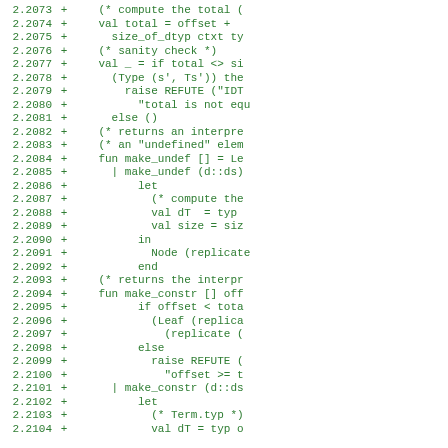Code diff lines 2.2073–2.2104 showing added lines (+) with ML/functional programming code in OCaml/SML style